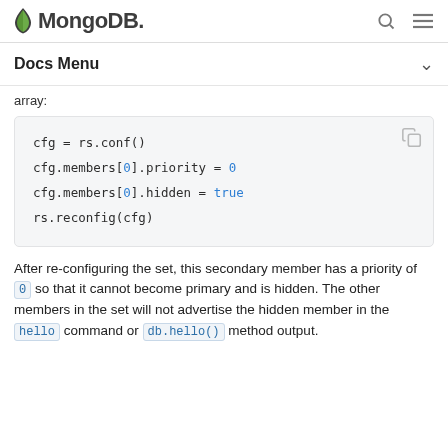MongoDB
Docs Menu
array:
[Figure (screenshot): Code block showing: cfg = rs.conf() / cfg.members[0].priority = 0 / cfg.members[0].hidden = true / rs.reconfig(cfg)]
After re-configuring the set, this secondary member has a priority of 0 so that it cannot become primary and is hidden. The other members in the set will not advertise the hidden member in the hello command or db.hello() method output.